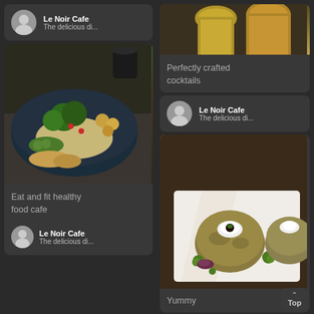[Figure (screenshot): Mobile app UI showing restaurant/cafe photo feed with dark theme. Left column: top card with avatar and 'Le Noir Cafe / The delicious di...', then a card with healthy food bowl image and text 'Eat and fit healthy food cafe', then bottom card with avatar and 'Le Noir Cafe / The delicious di...'. Right column: top partial image of cocktail glasses, text card 'Perfectly crafted cocktails', author card 'Le Noir Cafe / The delicious di...', then gourmet food image, and 'Yummy' text card. Bottom-right has a 'Top' navigation button.]